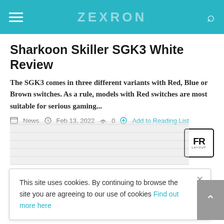ZEXRON
Sharkoon Skiller SGK3 White Review
The SGK3 comes in three different variants with Red, Blue or Brown switches. As a rule, models with Red switches are most suitable for serious gaming...
News  Feb 13, 2022  0  Add to Reading List
[Figure (other): FR Layout badge icon]
[Figure (photo): Keyboard product image placeholder]
This site uses cookies. By continuing to browse the site you are agreeing to our use of cookies Find out more here